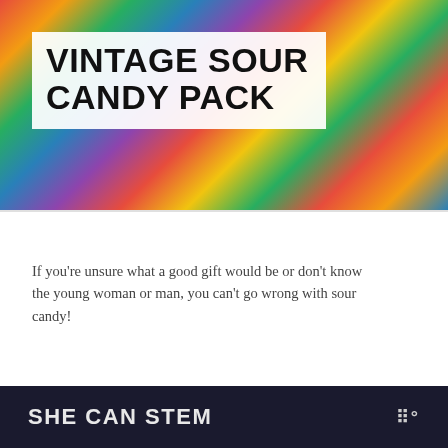[Figure (photo): Colorful candy packaging collage background with various sour candy brands]
VINTAGE SOUR CANDY PACK
If you're unsure what a good gift would be or don't know the young woman or man, you can't go wrong with sour candy!
CONTINUE READING
WHAT'S NEXT → 30 Unique & Funny 30th...
SHE CAN STEM